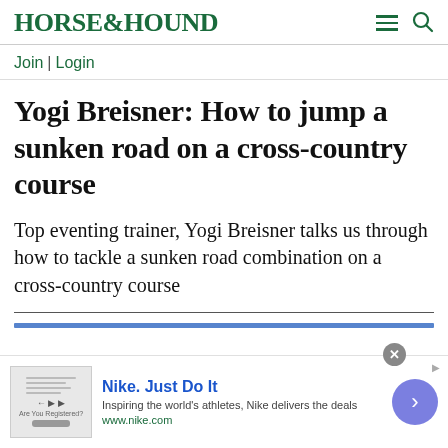HORSE&HOUND
Join | Login
Yogi Breisner: How to jump a sunken road on a cross-country course
Top eventing trainer, Yogi Breisner talks us through how to tackle a sunken road combination on a cross-country course
[Figure (screenshot): Nike advertisement banner with thumbnail image, Nike. Just Do It headline, subtitle and www.nike.com URL, with a purple arrow button]